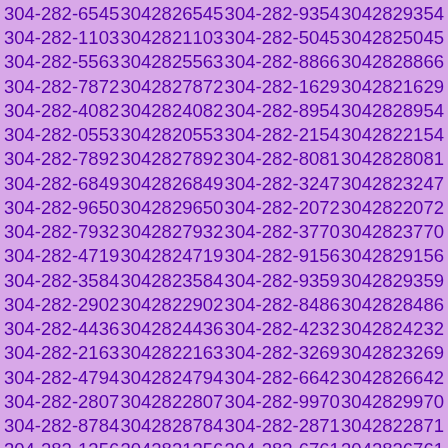304-282-6545 3042826545 304-282-9354 3042829354 304-282-1103 3042821103 304-282-5045 3042825045 304-282-5563 3042825563 304-282-8866 3042828866 304-282-7872 3042827872 304-282-1629 3042821629 304-282-4082 3042824082 304-282-8954 3042828954 304-282-0553 3042820553 304-282-2154 3042822154 304-282-7892 3042827892 304-282-8081 3042828081 304-282-6849 3042826849 304-282-3247 3042823247 304-282-9650 3042829650 304-282-2072 3042822072 304-282-7932 3042827932 304-282-3770 3042823770 304-282-4719 3042824719 304-282-9156 3042829156 304-282-3584 3042823584 304-282-9359 3042829359 304-282-2902 3042822902 304-282-8486 3042828486 304-282-4436 3042824436 304-282-4232 3042824232 304-282-2163 3042822163 304-282-3269 3042823269 304-282-4794 3042824794 304-282-6642 3042826642 304-282-2807 3042822807 304-282-9970 3042829970 304-282-8784 3042828784 304-282-2871 3042822871 304-282-1356 3042821356 304-282-6761 3042826761 304-282-5776 3042825776 304-282-0750 3042820750 304-282-0300 3042820300 304-282-9393 3042829393